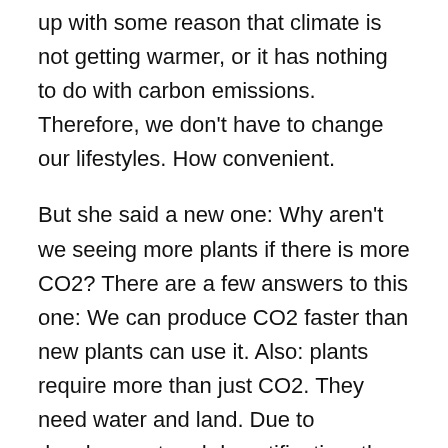up with some reason that climate is not getting warmer, or it has nothing to do with carbon emissions. Therefore, we don't have to change our lifestyles. How convenient.
But she said a new one: Why aren't we seeing more plants if there is more CO2? There are a few answers to this one: We can produce CO2 faster than new plants can use it. Also: plants require more than just CO2. They need water and land. Due to development and desertification, there is less land. And since one of the effects of climate change is that water is being re-arranged (floods in wet areas, droughts in already-dry areas) there is not always more water available either.